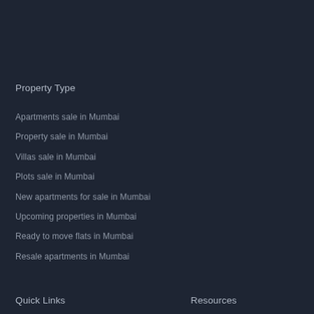Property Type
Apartments sale in Mumbai
Property sale in Mumbai
Villas sale in Mumbai
Plots sale in Mumbai
New apartments for sale in Mumbai
Upcoming properties in Mumbai
Ready to move flats in Mumbai
Resale apartments in Mumbai
Quick Links
Resources